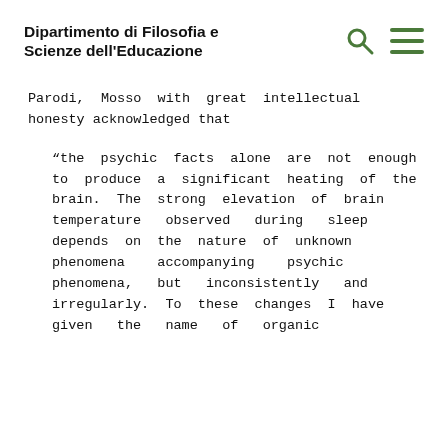Dipartimento di Filosofia e Scienze dell'Educazione
Parodi, Mosso with great intellectual honesty acknowledged that
“the psychic facts alone are not enough to produce a significant heating of the brain. The strong elevation of brain temperature observed during sleep depends on the nature of unknown phenomena accompanying psychic phenomena, but inconsistently and irregularly. To these changes I have given the name of organic